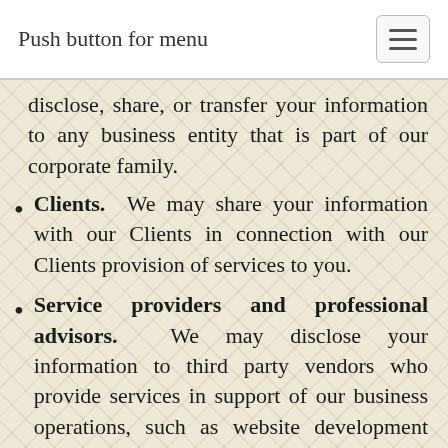Push button for menu
disclose, share, or transfer your information to any business entity that is part of our corporate family.
Clients. We may share your information with our Clients in connection with our Clients provision of services to you.
Service providers and professional advisors. We may disclose your information to third party vendors who provide services in support of our business operations, such as website development and hosting, payment processing, marketing management, service optimization, vendors that fulfill orders for